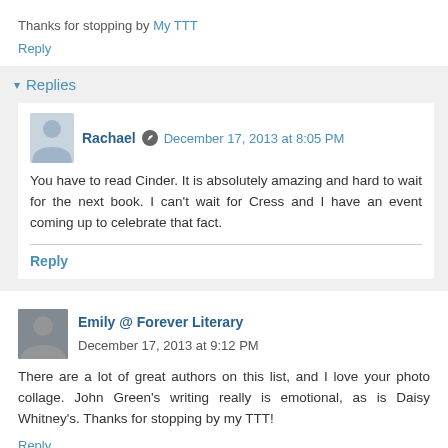Thanks for stopping by My TTT
Reply
▾ Replies
Rachael  December 17, 2013 at 8:05 PM
You have to read Cinder. It is absolutely amazing and hard to wait for the next book. I can't wait for Cress and I have an event coming up to celebrate that fact.
Reply
Emily @ Forever Literary  December 17, 2013 at 9:12 PM
There are a lot of great authors on this list, and I love your photo collage. John Green's writing really is emotional, as is Daisy Whitney's. Thanks for stopping by my TTT!
Reply